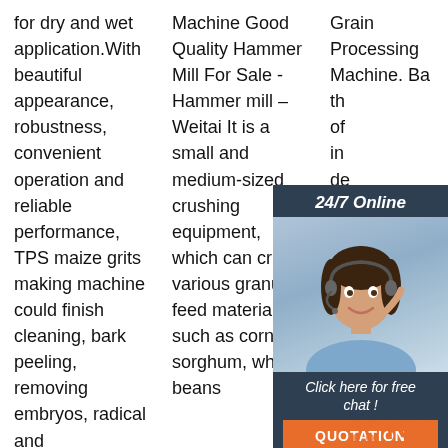for dry and wet application.With beautiful appearance, robustness, convenient operation and reliable performance, TPS maize grits making machine could finish cleaning, bark peeling, removing embryos, radical and
Machine Good Quality Hammer Mill For Sale - Hammer mill – Weitai It is a small and medium-sized crushing equipment, which can crush various granular feed materials such as corn, sorghum, wheat, beans
Grain Processing Machine. Ba... th... of in de... gr... ed... ha... ar... manufactured a complete set of grain processing machines
[Figure (photo): Customer service overlay with '24/7 Online' header, photo of woman with headset, 'Click here for free chat!' text, orange QUOTATION button, and orange TOP logo]
TOP